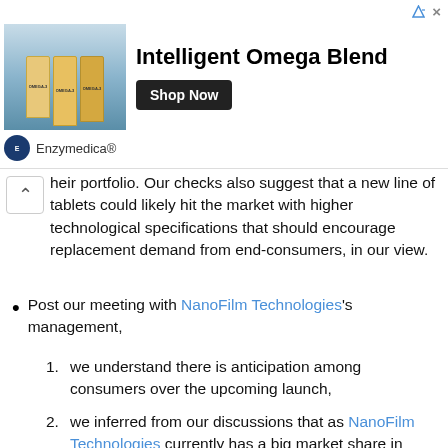[Figure (other): Advertisement banner for Enzymedica Intelligent Omega Blend supplement product with Shop Now button]
heir portfolio. Our checks also suggest that a new line of tablets could likely hit the market with higher technological specifications that should encourage replacement demand from end-consumers, in our view.
Post our meeting with NanoFilm Technologies's management,
1. we understand there is anticipation among consumers over the upcoming launch,
2. we inferred from our discussions that as NanoFilm Technologies currently has a big market share in coating tablets for Customer Z, it could potentially become a beneficiary should the new tablets become a hit among consumers, and
3. demand for wearables remains robust to-date